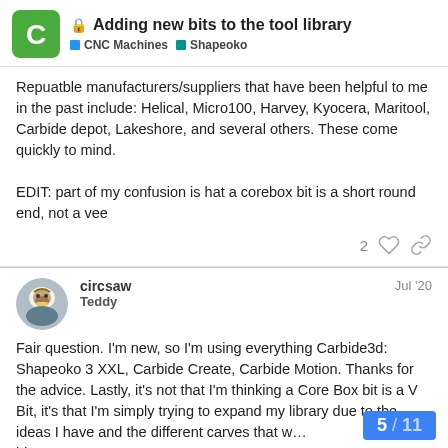Adding new bits to the tool library | CNC Machines | Shapeoko
Repuatble manufacturers/suppliers that have been helpful to me in the past include: Helical, Micro100, Harvey, Kyocera, Maritool, Carbide depot, Lakeshore, and several others. These come quickly to mind.

EDIT: part of my confusion is hat a corebox bit is a short round end, not a vee
circsaw Teddy Jul '20
Fair question. I'm new, so I'm using everything Carbide3d: Shapeoko 3 XXL, Carbide Create, Carbide Motion. Thanks for the advice. Lastly, it's not that I'm thinking a Core Box bit is a V Bit, it's that I'm simply trying to expand my library due to the ideas I have and the different carves that w... ideas.
5 / 11